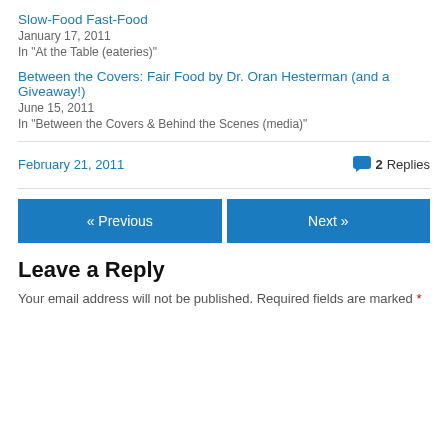Slow-Food Fast-Food
January 17, 2011
In "At the Table (eateries)"
Between the Covers: Fair Food by Dr. Oran Hesterman (and a Giveaway!)
June 15, 2011
In "Between the Covers & Behind the Scenes (media)"
February 21, 2011
2 Replies
« Previous
Next »
Leave a Reply
Your email address will not be published. Required fields are marked *